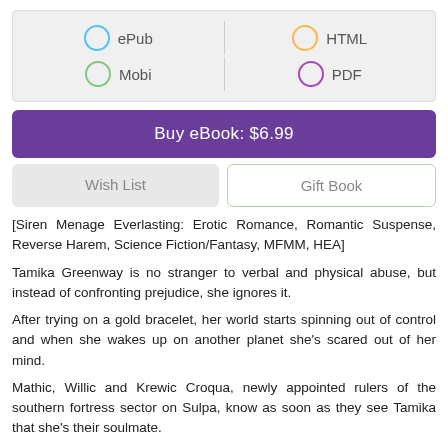[Figure (screenshot): Format selector UI with radio buttons for ePub, Mobi, HTML, PDF]
Buy eBook: $6.99
Wish List
Gift Book
[Siren Menage Everlasting: Erotic Romance, Romantic Suspense, Reverse Harem, Science Fiction/Fantasy, MFMM, HEA]
Tamika Greenway is no stranger to verbal and physical abuse, but instead of confronting prejudice, she ignores it.
After trying on a gold bracelet, her world starts spinning out of control and when she wakes up on another planet she's scared out of her mind.
Mathic, Willic and Krewic Croqua, newly appointed rulers of the southern fortress sector on Sulpa, know as soon as they see Tamika that she's their soulmate.